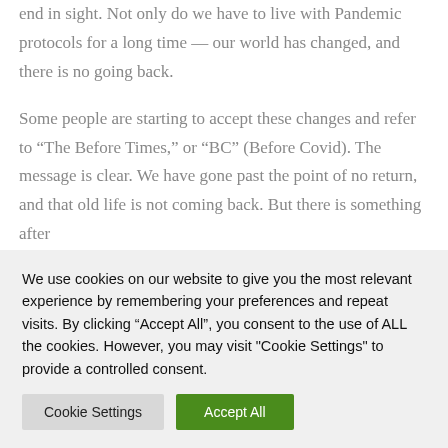end in sight. Not only do we have to live with Pandemic protocols for a long time — our world has changed, and there is no going back.
Some people are starting to accept these changes and refer to “The Before Times,” or “BC” (Before Covid). The message is clear. We have gone past the point of no return, and that old life is not coming back. But there is something after
We use cookies on our website to give you the most relevant experience by remembering your preferences and repeat visits. By clicking “Accept All”, you consent to the use of ALL the cookies. However, you may visit "Cookie Settings" to provide a controlled consent.